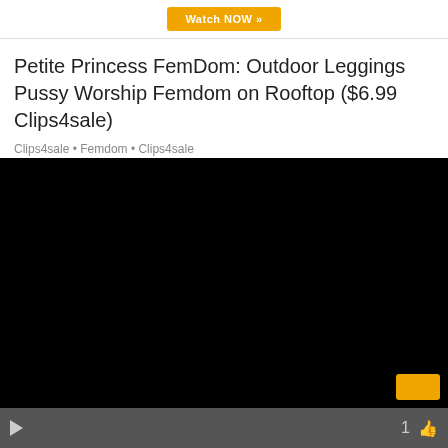[Figure (screenshot): Orange 'Watch NOW »' button on white background]
Petite Princess FemDom: Outdoor Leggings Pussy Worship Femdom on Rooftop ($6.99 Clips4sale)
[Figure (screenshot): Black video player area with gold button in bottom right corner and playback controls bar at bottom showing play button, number 1, and thumbs up icon]